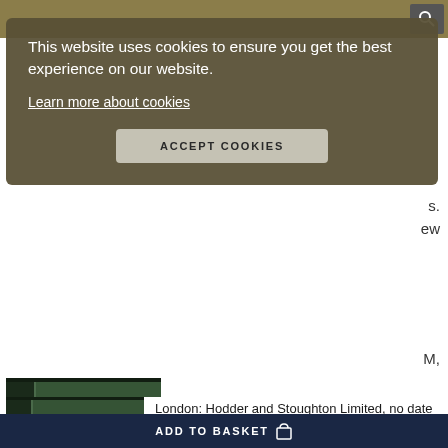Navigation bar with search icon
This website uses cookies to ensure you get the best experience on our website.
Learn more about cookies
ACCEPT COOKIES
[Figure (photo): Green half morocco hardcover book spine and front board]
London: Hodder and Stoughton Limited, no date [1912]. [Children's Illustrated] REVISED 'BEST' EDITION. Quarto (29 x 22cm), pp.[8] 126 [2]. With 50 chromolithographic plates by Rackham, including a frontispiece, as well as further occasional wood engravings. Recently rebound in green half morocco with raised bands, gilt titles and decoration to.....
More >
ADD TO BASKET